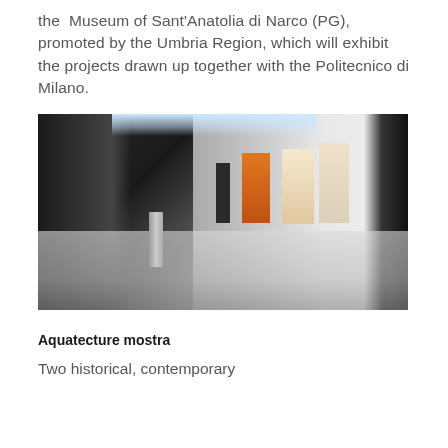the Museum of Sant'Anatolia di Narco (PG), promoted by the Umbria Region, which will exhibit the projects drawn up together with the Politecnico di Milano.
[Figure (photo): Interior of a modern museum gallery with a bright illuminated white wall displaying artwork panels, including dark and orange-colored exhibits. The room has a white polished floor and dark areas to the left and right.]
Aquatecture mostra
Two historical, contemporary